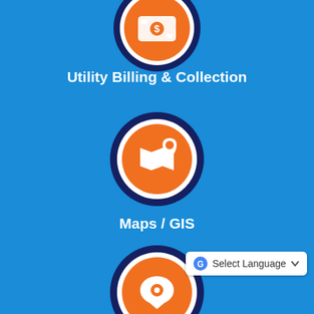[Figure (infographic): Orange circle icon with white dollar/money icon inside, dark navy ring border — Utility Billing & Collection]
Utility Billing & Collection
[Figure (infographic): Orange circle icon with white map/GIS icon inside, dark navy ring border — Maps / GIS]
Maps / GIS
[Figure (infographic): Orange circle icon with white chat/report bubble icon inside, dark navy ring border — Report a Concern]
Report a Concern
[Figure (infographic): Orange circle icon with white document/form icon inside, dark navy ring border — partially visible at bottom]
[Figure (screenshot): Google Translate Select Language dropdown widget in bottom right corner]